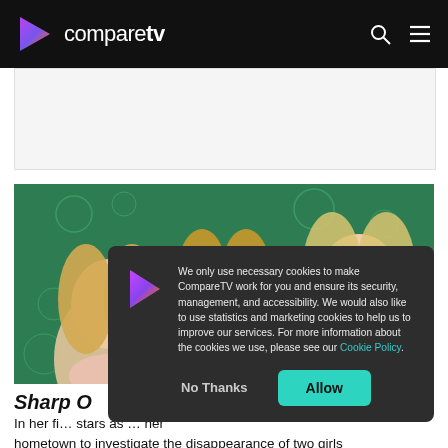compareTV
[Figure (photo): Two women with blonde hair in front of a green floral background — a TV show promotional photo for Sharp Objects]
We only use necessary cookies to make CompareTV work for you and ensure its security, management, and accessibility. We would also like to use statistics and marketing cookies to help us to improve our services. For more information about the cookies we use, please see our Cookie Policy.
Sharp O…
In her fi… stars as … her hometown to investigate the disappearance of two girls